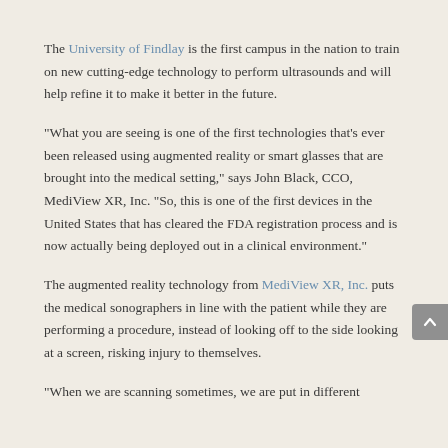The University of Findlay is the first campus in the nation to train on new cutting-edge technology to perform ultrasounds and will help refine it to make it better in the future.
"What you are seeing is one of the first technologies that's ever been released using augmented reality or smart glasses that are brought into the medical setting," says John Black, CCO, MediView XR, Inc. "So, this is one of the first devices in the United States that has cleared the FDA registration process and is now actually being deployed out in a clinical environment."
The augmented reality technology from MediView XR, Inc. puts the medical sonographers in line with the patient while they are performing a procedure, instead of looking off to the side looking at a screen, risking injury to themselves.
"When we are scanning sometimes, we are put in different